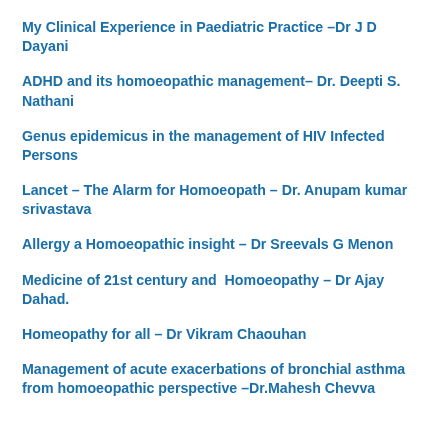My Clinical Experience in Paediatric Practice –Dr J D Dayani
ADHD and its homoeopathic management– Dr. Deepti S. Nathani
Genus epidemicus in the management of HIV Infected Persons
Lancet – The Alarm for Homoeopath – Dr. Anupam kumar srivastava
Allergy a Homoeopathic insight – Dr Sreevals G Menon
Medicine of 21st century and Homoeopathy – Dr Ajay Dahad.
Homeopathy for all – Dr Vikram Chaouhan
Management of acute exacerbations of bronchial asthma from homoeopathic perspective –Dr.Mahesh Chevva